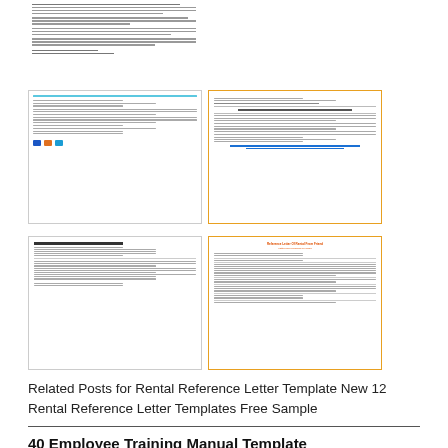[Figure (illustration): Top-left area showing partial text of a letter document, small font, lines of text visible]
[Figure (illustration): Thumbnail of a rental reference letter template with blue header bar and icon buttons at bottom]
[Figure (illustration): Thumbnail of a rental reference letter with orange border, formal letter layout with bold underlined center heading]
[Figure (illustration): Thumbnail of a rental reference letter, plain border, formal letter format with address and body text]
[Figure (illustration): Thumbnail of a reference letter of rental from friend, red/orange title text at top, body text below]
Related Posts for Rental Reference Letter Template New 12 Rental Reference Letter Templates Free Sample
40 Employee Training Manual Template